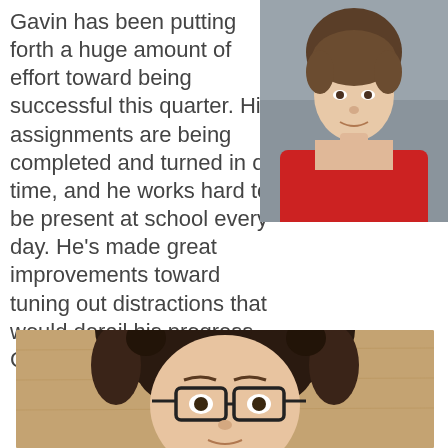Gavin has been putting forth a huge amount of effort toward being successful this quarter. His assignments are being completed and turned in on time, and he works hard to be present at school every day. He's made great improvements toward tuning out distractions that would derail his progress. Congratulations, Gavin!
[Figure (photo): School portrait photo of a young boy wearing a red t-shirt, with short brown hair, against a gray background]
[Figure (photo): School portrait photo of a girl with curly dark hair pulled back, wearing glasses with dark frames, against a light wood-colored background]